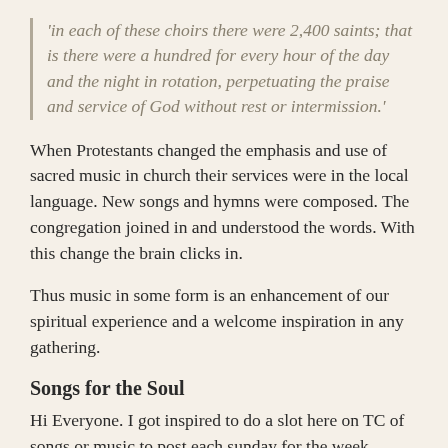'in each of these choirs there were 2,400 saints; that is there were a hundred for every hour of the day and the night in rotation, perpetuating the praise and service of God without rest or intermission.'
When Protestants changed the emphasis and use of sacred music in church their services were in the local language. New songs and hymns were composed. The congregation joined in and understood the words. With this change the brain clicks in.
Thus music in some form is an enhancement of our spiritual experience and a welcome inspiration in any gathering.
Songs for the Soul
Hi Everyone. I got inspired to do a slot here on TC of songs or music to post each sunday for the week